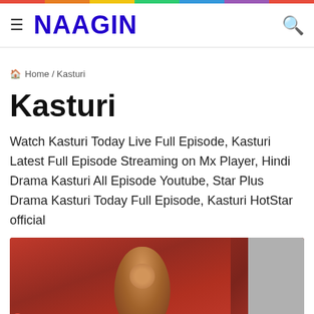NAAGIN
Home / Kasturi
Kasturi
Watch Kasturi Today Live Full Episode, Kasturi Latest Full Episode Streaming on Mx Player, Hindi Drama Kasturi All Episode Youtube, Star Plus Drama Kasturi Today Full Episode, Kasturi HotStar official
[Figure (photo): Photo of a woman smiling, wearing colorful clothing, with red and gray background elements]